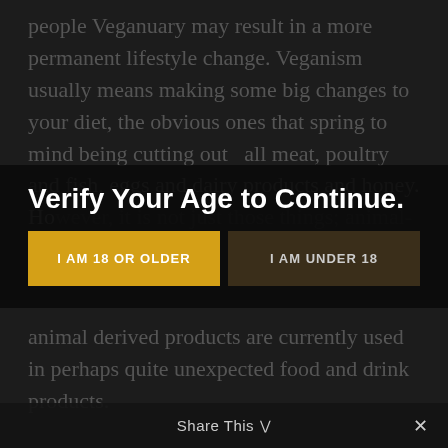people Veganuary may result in a more permanent lifestyle change. Veganism usually means making some big changes to your diet, the obvious ones that spring to mind being cutting out  all meat, poultry and fish, eggs and dairy products and honey. Ho... the... animal derived products are currently used in perhaps quite unexpected food and drink products.

Would it surprise you for example to learn that many alcoholic drinks are not suitable for Vegans? surely alcoholic drinks are just...
Verify Your Age to Continue.
I AM 18 OR OLDER
I AM UNDER 18
Share This ∨